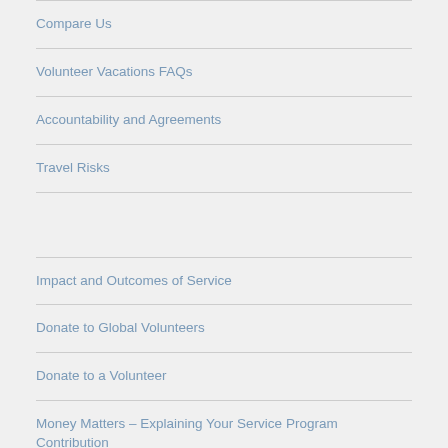Compare Us
Volunteer Vacations FAQs
Accountability and Agreements
Travel Risks
Impact and Outcomes of Service
Donate to Global Volunteers
Donate to a Volunteer
Money Matters – Explaining Your Service Program Contribution